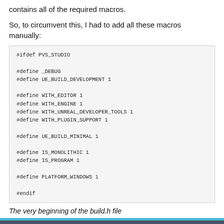contains all of the required macros.
So, to circumvent this, I had to add all these macros manually:
#ifdef PVS_STUDIO

#define _DEBUG
#define UE_BUILD_DEVELOPMENT 1

#define WITH_EDITOR 1
#define WITH_ENGINE 1
#define WITH_UNREAL_DEVELOPER_TOOLS 1
#define WITH_PLUGIN_SUPPORT 1

#define UE_BUILD_MINIMAL 1

#define IS_MONOLITHIC 1
#define IS_PROGRAM 1

#define PLATFORM_WINDOWS 1

#endif
The very beginning of the build.h file
Our website uses cookies to enhance your browsing experience. Would you like to learn more?
Accept